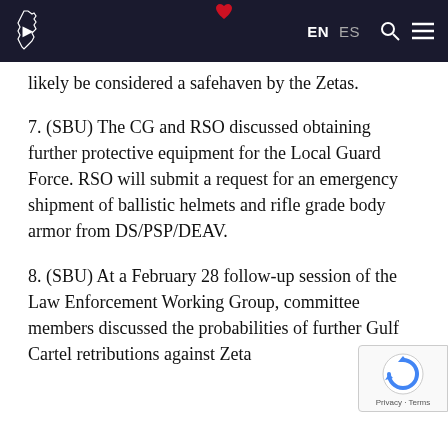EN ES [search] [menu]
likely be considered a safehaven by the Zetas.
7. (SBU) The CG and RSO discussed obtaining further protective equipment for the Local Guard Force. RSO will submit a request for an emergency shipment of ballistic helmets and rifle grade body armor from DS/PSP/DEAV.
8. (SBU) At a February 28 follow-up session of the Law Enforcement Working Group, committee members discussed the probabilities of further Gulf Cartel retributions against Zeta